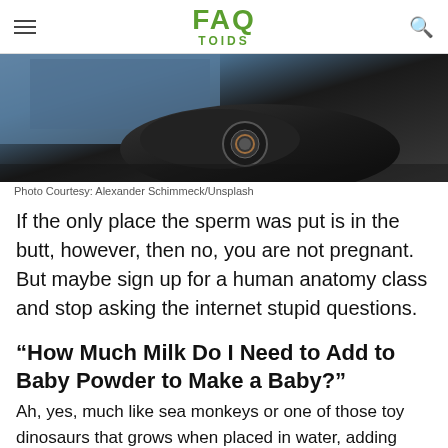FAQ TOIDS
[Figure (photo): Close-up photo of what appears to be a shoe or leather object with mechanical parts, dark tones. Photo Courtesy: Alexander Schimmeck/Unsplash]
Photo Courtesy: Alexander Schimmeck/Unsplash
If the only place the sperm was put is in the butt, however, then no, you are not pregnant. But maybe sign up for a human anatomy class and stop asking the internet stupid questions.
“How Much Milk Do I Need to Add to Baby Powder to Make a Baby?”
Ah, yes, much like sea monkeys or one of those toy dinosaurs that grows when placed in water, adding